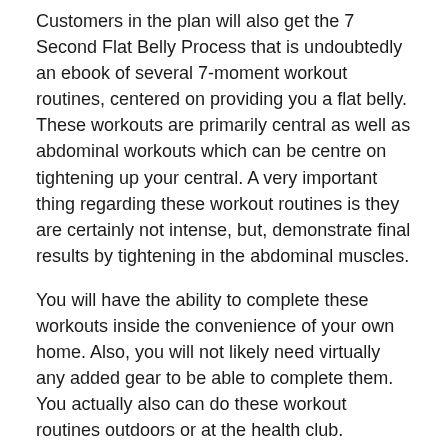Customers in the plan will also get the 7 Second Flat Belly Process that is undoubtedly an ebook of several 7-moment workout routines, centered on providing you a flat belly. These workouts are primarily central as well as abdominal workouts which can be centre on tightening up your central. A very important thing regarding these workout routines is they are certainly not intense, but, demonstrate final results by tightening in the abdominal muscles.
You will have the ability to complete these workouts inside the convenience of your own home. Also, you will not likely need virtually any added gear to be able to complete them. You actually also can do these workout routines outdoors or at the health club.
Performing remote workout routines like bicep curls as well as tricep hit-back are not going to get you pretty much any important benefits. These one-muscle tissue-at-a-time techniques just do not energize sufficient muscle mass fibres to develop lean body mass or spend sufficient strength to improve your calories burn off.
If you really desire to construct lean body whilst shedding fat so you really will get the critical definition, you really might need to do